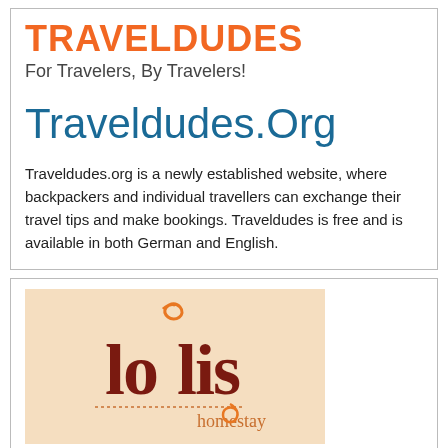TRAVELDUDES
For Travelers, By Travelers!
Traveldudes.Org
Traveldudes.org is a newly established website, where backpackers and individual travellers can exchange their travel tips and make bookings. Traveldudes is free and is available in both German and English.
[Figure (logo): Lollis Homestay logo on a light peach/cream background with stylized text]